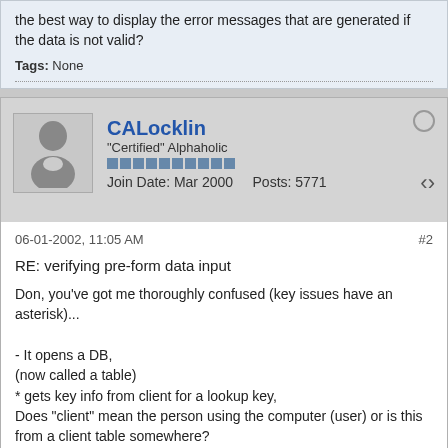the best way to display the error messages that are generated if the data is not valid?
Tags: None
CALocklin
"Certified" Alphaholic
Join Date: Mar 2000    Posts: 5771
06-01-2002, 11:05 AM
#2
RE: verifying pre-form data input
Don, you've got me thoroughly confused (key issues have an asterisk)...

- It opens a DB,
(now called a table)
* gets key info from client for a lookup key,
Does "client" mean the person using the computer (user) or is this from a client table somewhere?
- does xlookup of proper record,
If a user input a value then I assume this value is used as the key value to verify that it is a valid key.